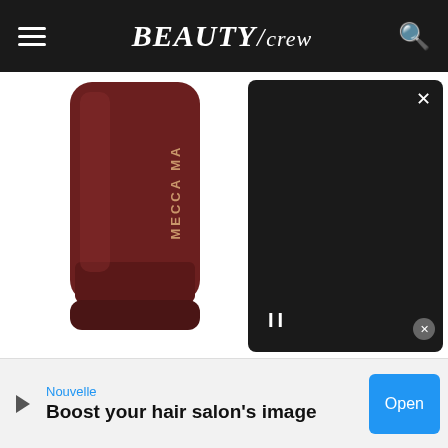BEAUTY/crew
[Figure (photo): Mecca Max lipstick/cosmetic stick product in dark red/brown cylindrical packaging with 'MECCA MA' text visible, on white background. A dark video overlay panel appears on the right side with close (X) button and pause (II) controls.]
Mecca Max Off Duty C
Meet the silky stick that'll c
Nouvelle
Boost your hair salon's image
Open